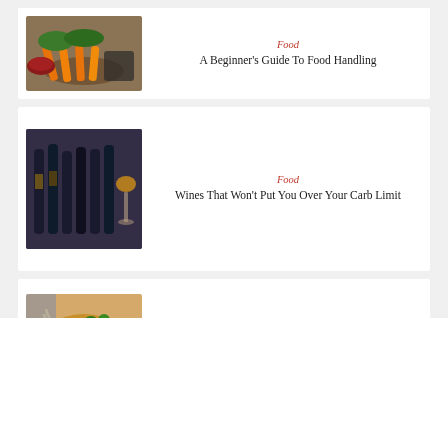[Figure (photo): Photo of fresh vegetables including carrots and greens in bowls]
Food
A Beginner's Guide To Food Handling
[Figure (photo): Photo of wine bottles and a glass of wine on a table]
Food
Wines That Won't Put You Over Your Carb Limit
[Figure (photo): Photo of pizza being pulled apart with tomatoes and herbs]
Food
Traditional Italian Food Or Traditional Greek Food:...